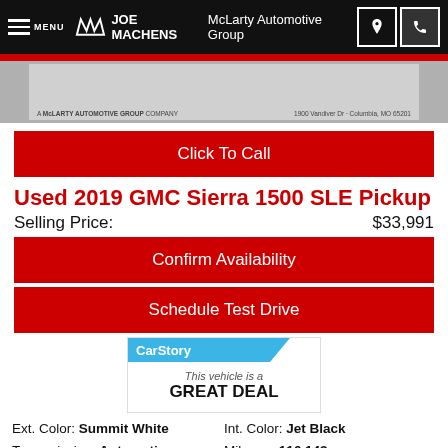MENU  JOE MACHENS  McLarty Automotive Group
[Figure (screenshot): Partial vehicle image with McLarty Automotive Group company branding and address: 1900 Vandiver Dr · Columbia, MO 65201]
Click To Call
Used 2019 GMC Sierra 1500 SLE Pickup
Selling Price:    $33,991
Confirm Availability
Schedule Test Drive
[Figure (logo): CarStory badge: 'This vehicle is a GREAT DEAL']
Ext. Color: Summit White    Int. Color: Jet Black
Transmission: Automatic    Mileage: 116,143
Stock: TU1116    Drivetrain: 4WD